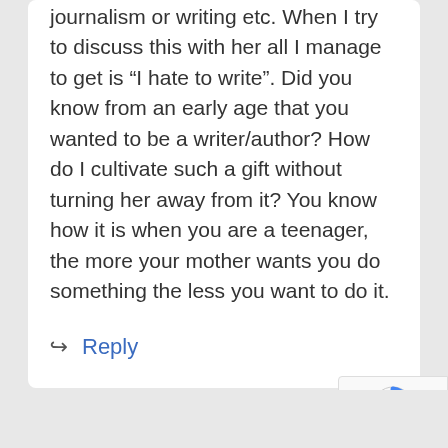journalism or writing etc. When I try to discuss this with her all I manage to get is “I hate to write”. Did you know from an early age that you wanted to be a writer/author? How do I cultivate such a gift without turning her away from it? You know how it is when you are a teenager, the more your mother wants you do something the less you want to do it.
Reply